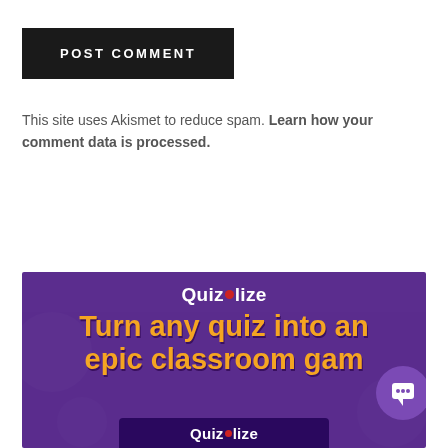POST COMMENT
This site uses Akismet to reduce spam. Learn how your comment data is processed.
[Figure (illustration): Quizalize advertisement banner with purple background. Shows 'Quizalize' logo in white text with a red dot, large orange bold text reading 'Turn any quiz into an epic classroom gam' (truncated), a purple chat bubble icon on the right, and a tablet showing the Quizalize logo at the bottom.]